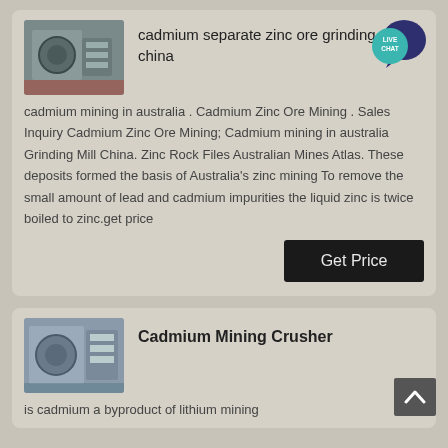[Figure (photo): Industrial grinding mill machinery in a factory setting]
cadmium separate zinc ore grinding mill china
cadmium mining in australia . Cadmium Zinc Ore Mining . Sales Inquiry Cadmium Zinc Ore Mining; Cadmium mining in australia Grinding Mill China. Zinc Rock Files Australian Mines Atlas. These deposits formed the basis of Australia's zinc mining To remove the small amount of lead and cadmium impurities the liquid zinc is twice boiled to zinc.get price
[Figure (illustration): Live Chat speech bubble icon with teal/dark blue color]
Get Price
[Figure (photo): Industrial mining crusher machinery in a facility]
Cadmium Mining Crusher
is cadmium a byproduct of lithium mining